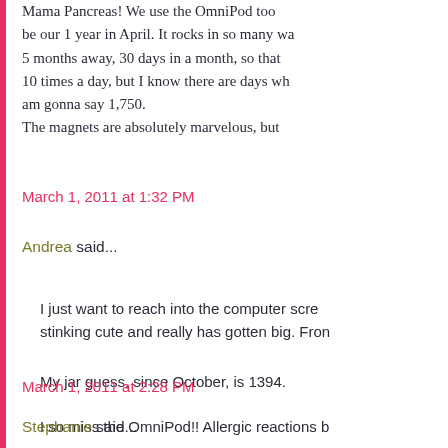Mama Pancreas! We use the OmniPod too be our 1 year in April. It rocks in so many wa 5 months away, 30 days in a month, so that 10 times a day, but I know there are days wh am gonna say 1,750. The magnets are absolutely marvelous, but
March 1, 2011 at 1:32 PM
Andrea said...
I just want to reach into the computer scre stinking cute and really has gotten big. Fron
My jar guess, since October, is 1394.
I so miss the OmniPod!! Allergic reactions b
March 1, 2011 at 2:28 PM
Stephanie said...